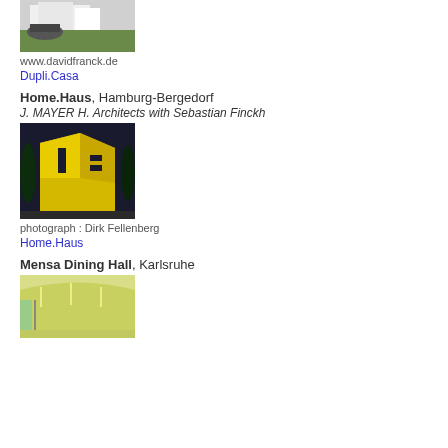[Figure (photo): Exterior photo of white building with green lawn, partial view at top of page]
www.davidfranck.de
Dupli.Casa
Home.Haus, Hamburg-Bergedorf
J. MAYER H. Architects with Sebastian Finckh
[Figure (photo): Exterior photo of yellow angular building (Home.Haus)]
photograph : Dirk Fellenberg
Home.Haus
Mensa Dining Hall, Karlsruhe
[Figure (photo): Interior photo of Mensa Dining Hall showing yellow-green curved interior]